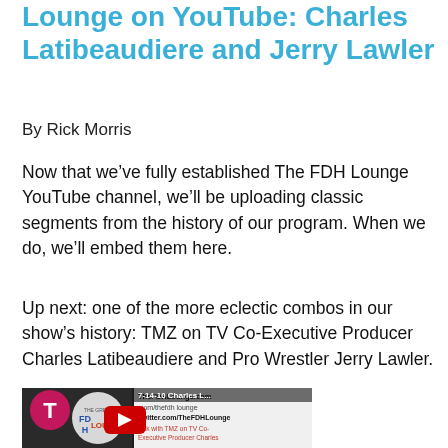Lounge on YouTube: Charles Latibeaudiere and Jerry Lawler
By Rick Morris
Now that we’ve fully established The FDH Lounge YouTube channel, we’ll be uploading classic segments from the history of our program. When we do, we’ll embed them here.
Up next: one of the more eclectic combos in our show’s history: TMZ on TV Co-Executive Producer Charles Latibeaudiere and Pro Wrestler Jerry Lawler.
[Figure (screenshot): YouTube video thumbnail showing FDH Lounge logo and video title '7-14-10 Charles L...' with text about talk with TMZ on TV Co-Executive Producer Charles Latibeaudiere and pro wrestler/wrestling announcer Jerry Lawler. Red YouTube play button visible.]